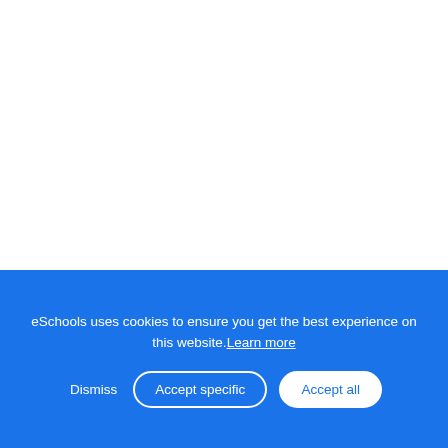prevent
eSchools uses cookies to ensure you get the best experience on this website. Learn more
Dismiss
Accept specific
Accept all